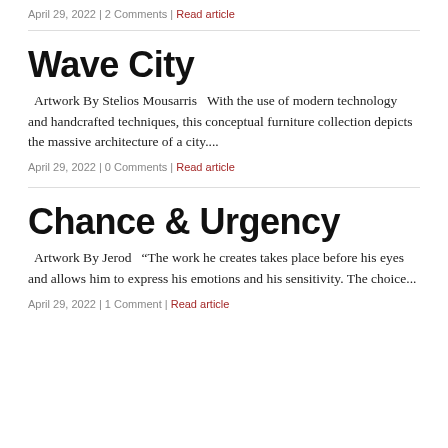April 29, 2022 | 2 Comments | Read article
Wave City
Artwork By Stelios Mousarris   With the use of modern technology and handcrafted techniques, this conceptual furniture collection depicts the massive architecture of a city....
April 29, 2022 | 0 Comments | Read article
Chance & Urgency
Artwork By Jerod  “The work he creates takes place before his eyes and allows him to express his emotions and his sensitivity. The choice...
April 29, 2022 | 1 Comment | Read article